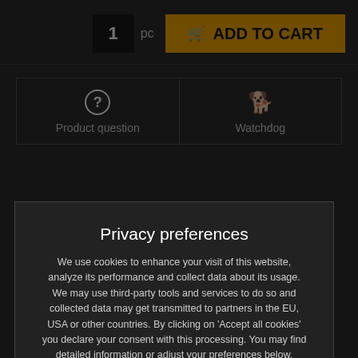[Figure (screenshot): E-commerce product page showing quantity selector with '1 pc' and yellow 'ADD TO CART' button on dark background]
[Figure (screenshot): Two action buttons: 'Product question' with question mark circle icon, and 'Watchdog' with dog icon]
Privacy preferences
We use cookies to enhance your visit of this website, analyze its performance and collect data about its usage. We may use third-party tools and services to do so and collected data may get transmitted to partners in the EU, USA or other countries. By clicking on 'Accept all cookies' you declare your consent with this processing. You may find detailed information or adjust your preferences below.
Privacy declaration
Show details
Accept all cookies
uestion